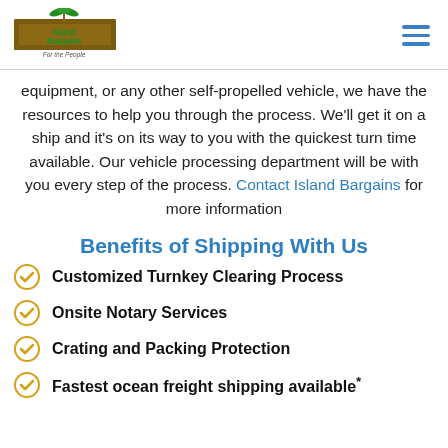IslandBargains.com — For the People (logo and navigation)
equipment, or any other self-propelled vehicle, we have the resources to help you through the process. We'll get it on a ship and it's on its way to you with the quickest turn time available. Our vehicle processing department will be with you every step of the process. Contact Island Bargains for more information
Benefits of Shipping With Us
Customized Turnkey Clearing Process
Onsite Notary Services
Crating and Packing Protection
Fastest ocean freight shipping available*